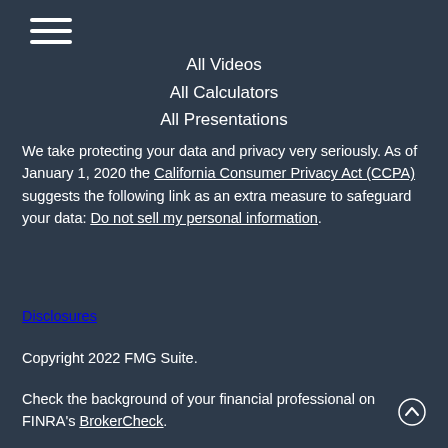[Figure (other): Hamburger menu icon with three horizontal white lines]
All Videos
All Calculators
All Presentations
We take protecting your data and privacy very seriously. As of January 1, 2020 the California Consumer Privacy Act (CCPA) suggests the following link as an extra measure to safeguard your data: Do not sell my personal information.
Disclosures
Copyright 2022 FMG Suite.
Check the background of your financial professional on FINRA's BrokerCheck.